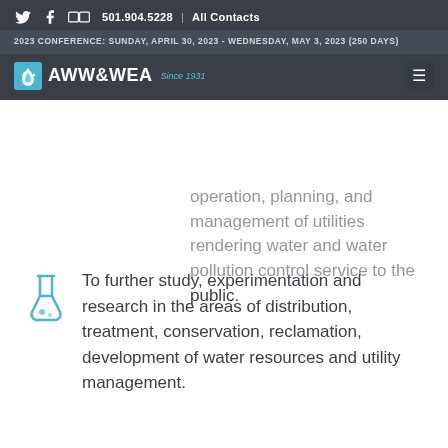of information and the advancement of knowledge in all areas of design. operation, planning, and management of utilities rendering water and water pollution control service to the public.
2023 CONFERENCE: SUNDAY, APRIL 30, 2023 - WEDNESDAY, MAY 3, 2023 (250 DAYS)
[Figure (logo): AWW&WEA Since 1931 logo with water drop icon]
of information and the advancement of knowledge in all areas of design. operation, planning, and management of utilities rendering water and water pollution control service to the public.
To further study, experimentation and research in the areas of distribution, treatment, conservation, reclamation, development of water resources and utility management.